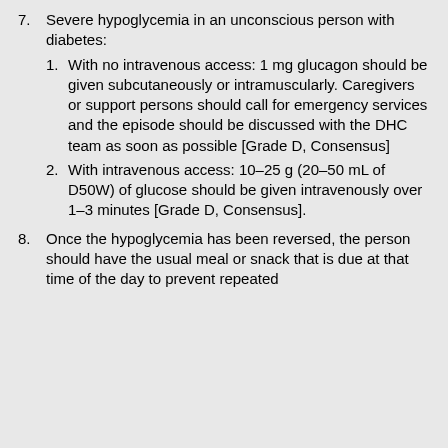7. Severe hypoglycemia in an unconscious person with diabetes:
1. With no intravenous access: 1 mg glucagon should be given subcutaneously or intramuscularly. Caregivers or support persons should call for emergency services and the episode should be discussed with the DHC team as soon as possible [Grade D, Consensus]
2. With intravenous access: 10–25 g (20–50 mL of D50W) of glucose should be given intravenously over 1–3 minutes [Grade D, Consensus].
8. Once the hypoglycemia has been reversed, the person should have the usual meal or snack that is due at that time of the day to prevent repeated